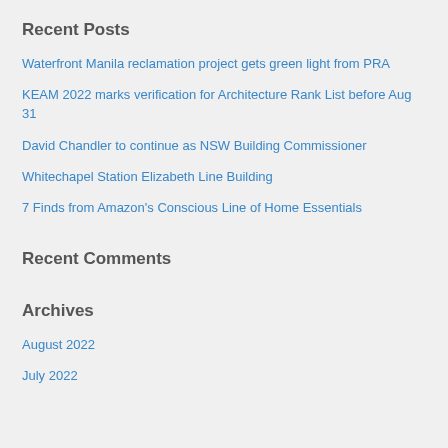Recent Posts
Waterfront Manila reclamation project gets green light from PRA
KEAM 2022 marks verification for Architecture Rank List before Aug 31
David Chandler to continue as NSW Building Commissioner
Whitechapel Station Elizabeth Line Building
7 Finds from Amazon's Conscious Line of Home Essentials
Recent Comments
Archives
August 2022
July 2022